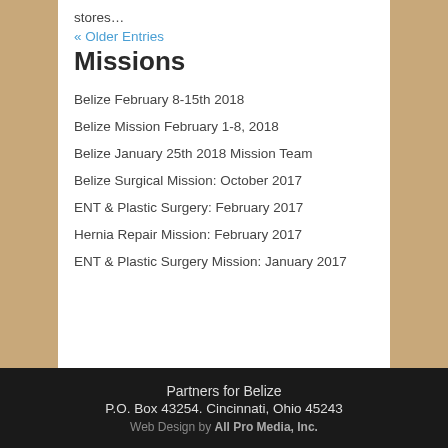stores…
« Older Entries
Missions
Belize February 8-15th 2018
Belize Mission February 1-8, 2018
Belize January 25th 2018 Mission Team
Belize Surgical Mission: October 2017
ENT & Plastic Surgery: February 2017
Hernia Repair Mission: February 2017
ENT & Plastic Surgery Mission: January 2017
Partners for Belize
P.O. Box 43254. Cincinnati, Ohio 45243
Web Design by All Pro Media, Inc.